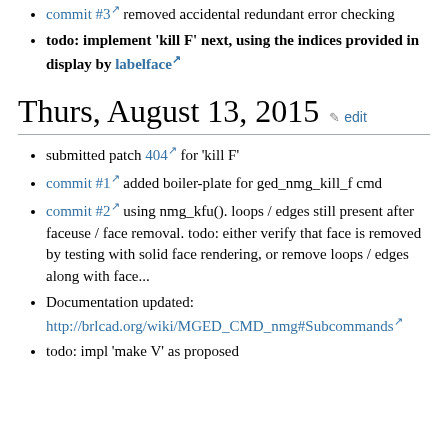commit #3 [ext] removed accidental redundant error checking
todo: implement 'kill F' next, using the indices provided in display by labelface [ext]
Thurs, August 13, 2015
submitted patch 404 [ext] for 'kill F'
commit #1 [ext] added boiler-plate for ged_nmg_kill_f cmd
commit #2 [ext] using nmg_kfu(). loops / edges still present after faceuse / face removal. todo: either verify that face is removed by testing with solid face rendering, or remove loops / edges along with face...
Documentation updated: http://brlcad.org/wiki/MGED_CMD_nmg#Subcommands [ext]
todo: impl 'make V' as proposed